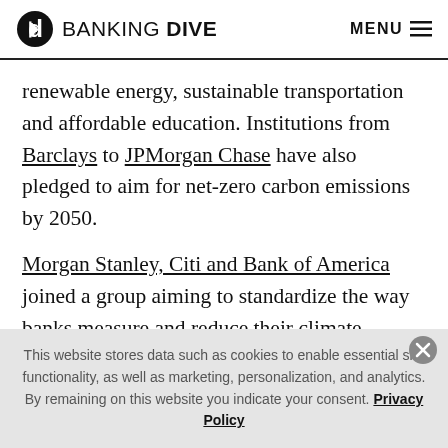BANKING DIVE  MENU
renewable energy, sustainable transportation and affordable education. Institutions from Barclays to JPMorgan Chase have also pledged to aim for net-zero carbon emissions by 2050.

Morgan Stanley, Citi and Bank of America joined a group aiming to standardize the way banks measure and reduce their climate impact. And regulators, from New York's Department of Financial Services to a CFTC panel laid
This website stores data such as cookies to enable essential site functionality, as well as marketing, personalization, and analytics. By remaining on this website you indicate your consent. Privacy Policy